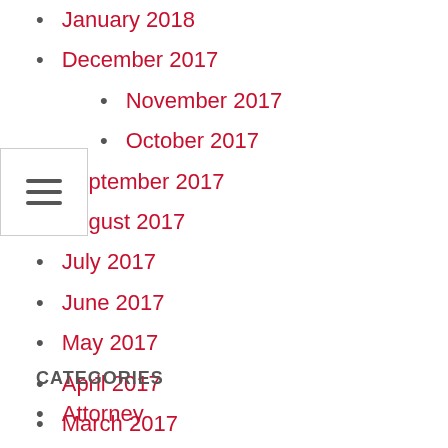January 2018
December 2017
November 2017
October 2017
September 2017
August 2017
July 2017
June 2017
May 2017
April 2017
March 2017
February 2017
January 2017
CATEGORIES
Attorney